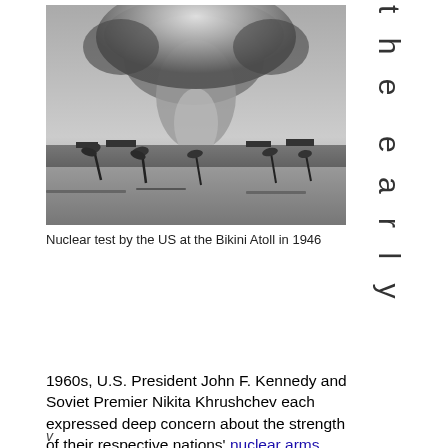[Figure (photo): Black and white photograph of a nuclear test explosion (mushroom cloud) by the US at the Bikini Atoll in 1946, showing palm trees in the foreground and ships in the water.]
Nuclear test by the US at the Bikini Atoll in 1946
t h e e a r l y
1960s, U.S. President John F. Kennedy and Soviet Premier Nikita Khrushchev each expressed deep concern about the strength of their respective nations' nuclear arms forces . This concern led them to complete the first arms control agreement of the Cold War, the Limited Test Ban Treaty of 1963.
v